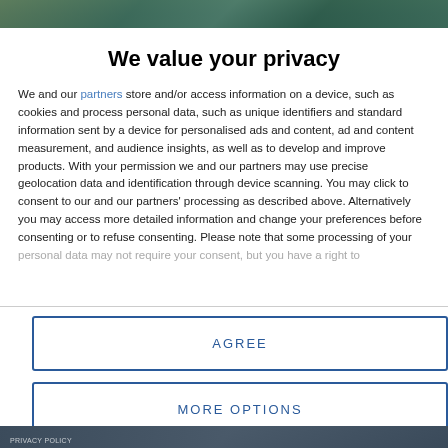[Figure (photo): Top portion of a nature/outdoor photo showing green foliage/trees, partially visible behind a privacy consent modal overlay]
We value your privacy
We and our partners store and/or access information on a device, such as cookies and process personal data, such as unique identifiers and standard information sent by a device for personalised ads and content, ad and content measurement, and audience insights, as well as to develop and improve products. With your permission we and our partners may use precise geolocation data and identification through device scanning. You may click to consent to our and our partners' processing as described above. Alternatively you may access more detailed information and change your preferences before consenting or to refuse consenting. Please note that some processing of your personal data may not require your consent, but you have a right to
AGREE
MORE OPTIONS
[Figure (photo): Bottom portion of a nature/outdoor photo, partially visible, appears to show trees or landscape]